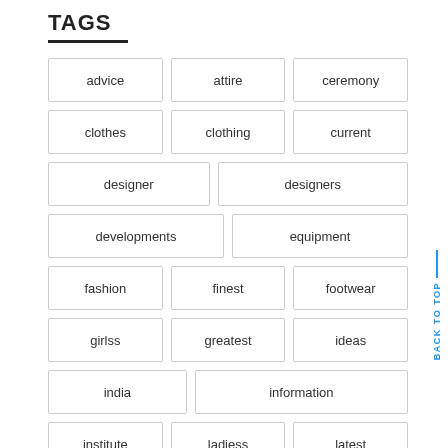TAGS
advice
attire
ceremony
clothes
clothing
current
designer
designers
developments
equipment
fashion
finest
footwear
girlss
greatest
ideas
india
information
institute
ladiess
latest